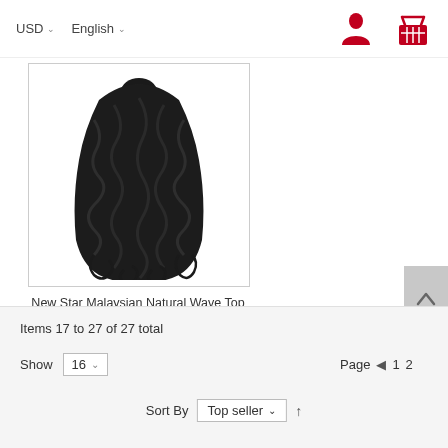USD  English
[Figure (photo): Product photo of curly/wavy black human hair bundle (Malaysian Natural Wave Virgin Hair)]
New Star Malaysian Natural Wave Top Virgin Human Hair
$38.00
Items 17 to 27 of 27 total
Show  16 ˅
Page  ◄  1  2
Sort By  Top seller ˅  ↑